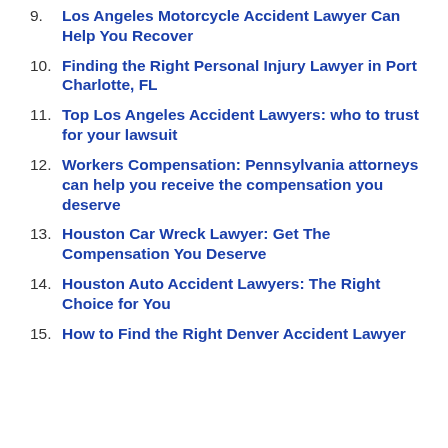9. Los Angeles Motorcycle Accident Lawyer Can Help You Recover
10. Finding the Right Personal Injury Lawyer in Port Charlotte, FL
11. Top Los Angeles Accident Lawyers: who to trust for your lawsuit
12. Workers Compensation: Pennsylvania attorneys can help you receive the compensation you deserve
13. Houston Car Wreck Lawyer: Get The Compensation You Deserve
14. Houston Auto Accident Lawyers: The Right Choice for You
15. How to Find the Right Denver Accident Lawyer